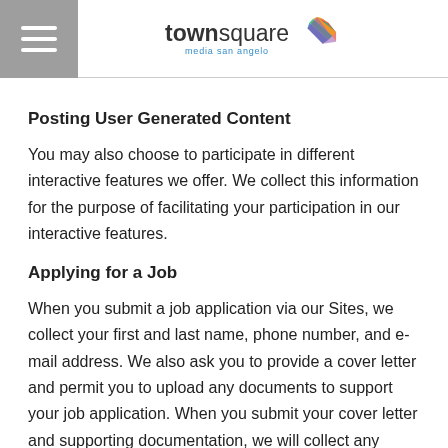townsquare media san angelo
Posting User Generated Content
You may also choose to participate in different interactive features we offer. We collect this information for the purpose of facilitating your participation in our interactive features.
Applying for a Job
When you submit a job application via our Sites, we collect your first and last name, phone number, and e-mail address. We also ask you to provide a cover letter and permit you to upload any documents to support your job application. When you submit your cover letter and supporting documentation, we will collect any additional information, including Personal